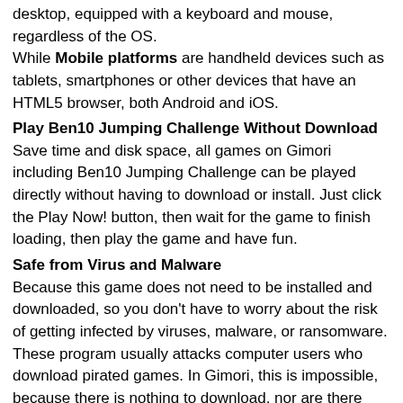desktop, equipped with a keyboard and mouse, regardless of the OS. While Mobile platforms are handheld devices such as tablets, smartphones or other devices that have an HTML5 browser, both Android and iOS.
Play Ben10 Jumping Challenge Without Download
Save time and disk space, all games on Gimori including Ben10 Jumping Challenge can be played directly without having to download or install. Just click the Play Now! button, then wait for the game to finish loading, then play the game and have fun.
Safe from Virus and Malware
Because this game does not need to be installed and downloaded, so you don't have to worry about the risk of getting infected by viruses, malware, or ransomware. These program usually attacks computer users who download pirated games. In Gimori, this is impossible, because there is nothing to download, nor are there any pirated games here.
Flash Player Not required
To play this game, you don't have to install anything including the flash player.